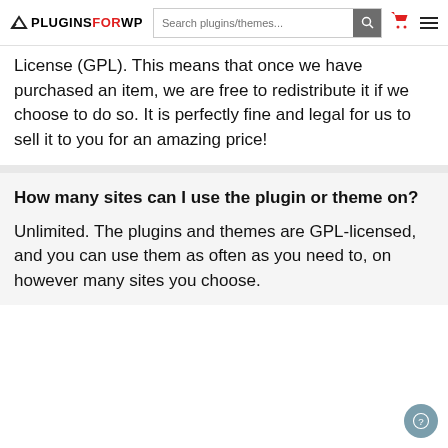PLUGINSFORWP — Search plugins/themes...
License (GPL). This means that once we have purchased an item, we are free to redistribute it if we choose to do so. It is perfectly fine and legal for us to sell it to you for an amazing price!
How many sites can I use the plugin or theme on?
Unlimited. The plugins and themes are GPL-licensed, and you can use them as often as you need to, on however many sites you choose.